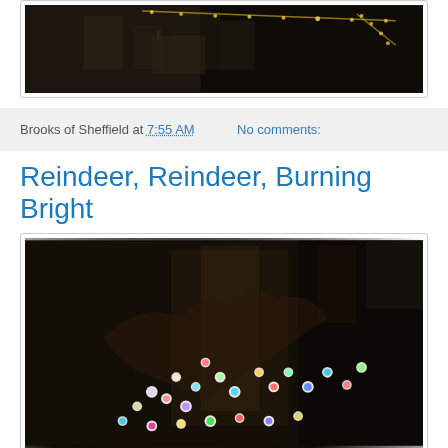[Figure (photo): Nighttime street scene with string lights visible in the darkness, showing buildings and illuminated lights strung overhead]
Brooks of Sheffield at 7:55 AM    No comments:
Reindeer, Reindeer, Burning Bright
[Figure (photo): Dark indoor scene showing a reindeer decoration or sculpture covered in colorful Christmas lights (red, blue, green, white, teal) glowing in the darkness]